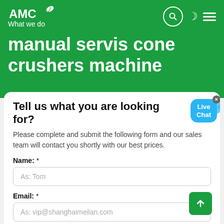AMC — What we do
manual servis cone crushers machine
Tell us what you are looking for?
Please complete and submit the following form and our sales team will contact you shortly with our best prices.
Name: *
As: Tom
Email: *
As: vip@shanghaimeilan.com
Phone: *
With Country Code